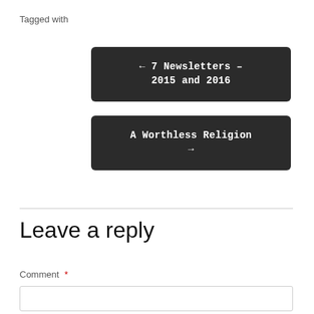Tagged with
← 7 Newsletters – 2015 and 2016
A Worthless Religion →
Leave a reply
Comment *